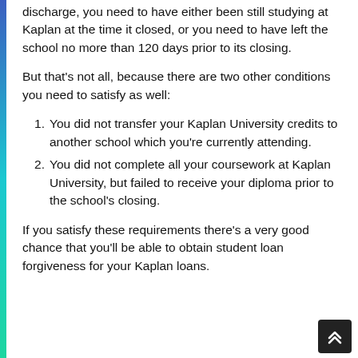discharge, you need to have either been still studying at Kaplan at the time it closed, or you need to have left the school no more than 120 days prior to its closing.
But that's not all, because there are two other conditions you need to satisfy as well:
You did not transfer your Kaplan University credits to another school which you're currently attending.
You did not complete all your coursework at Kaplan University, but failed to receive your diploma prior to the school's closing.
If you satisfy these requirements there's a very good chance that you'll be able to obtain student loan forgiveness for your Kaplan loans.